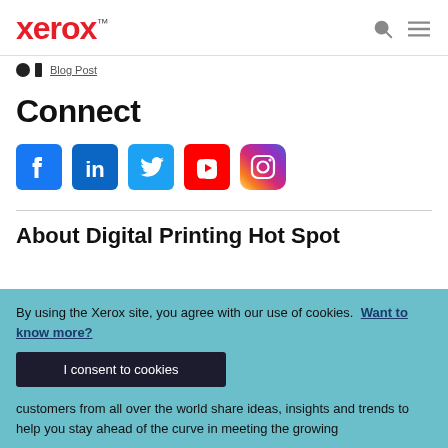xerox™
[Figure (logo): Xerox logo in red with search and hamburger menu icons]
Connect
[Figure (infographic): Social media icons row: Facebook, LinkedIn, Twitter, YouTube, Instagram]
About Digital Printing Hot Spot
By using the Xerox site, you agree with our use of cookies.  Want to know more?
I consent to cookies
customers from all over the world share ideas, insights and trends to help you stay ahead of the curve in meeting the growing